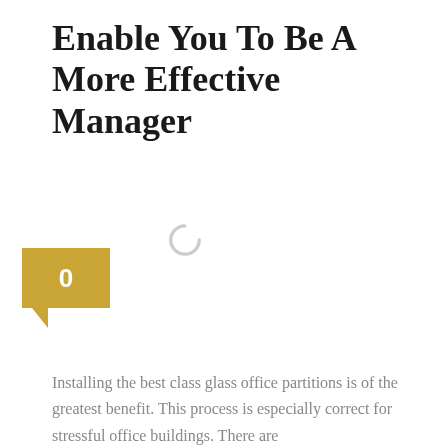Enable You To Be A More Effective Manager
[Figure (other): Loading spinner icon (circular arc), indicating content is loading]
[Figure (other): Golden/tan comment badge with the number 0, featuring a downward pointer at the bottom-left]
Installing the best class glass office partitions is of the greatest benefit. This process is especially correct for stressful office buildings. There are